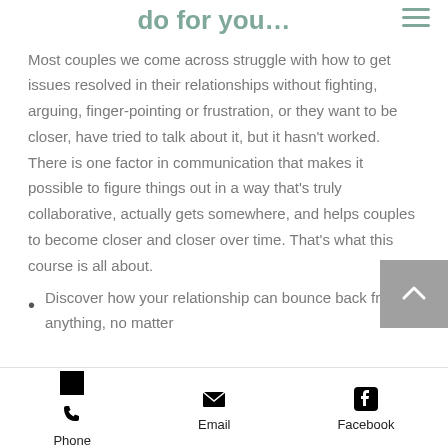do for you…
Most couples we come across struggle with how to get issues resolved in their relationships without fighting, arguing, finger-pointing or frustration, or they want to be closer, have tried to talk about it, but it hasn't worked. There is one factor in communication that makes it possible to figure things out in a way that's truly collaborative, actually gets somewhere, and helps couples to become closer and closer over time. That's what this course is all about.
Discover how your relationship can bounce back from anything, no matter
Phone   Email   Facebook